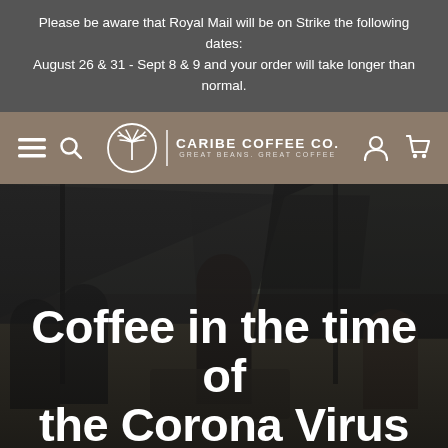Please be aware that Royal Mail will be on Strike the following dates: August 26 & 31 - Sept 8 & 9 and your order will take longer than normal.
CARIBE COFFEE CO. — navigation bar with menu, search, logo, account and cart icons
[Figure (photo): Outdoor market scene with dark canopy tents, people browsing stalls, overcast sky, with overlaid text 'Coffee in the time of the Corona Virus']
Coffee in the time of the Corona Virus